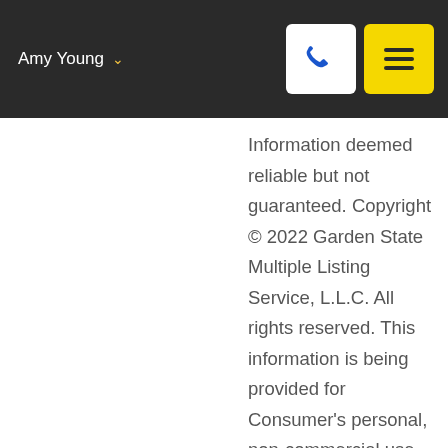Amy Young
Information deemed reliable but not guaranteed. Copyright © 2022 Garden State Multiple Listing Service, L.L.C. All rights reserved. This information is being provided for Consumer's personal, non-commercial use and may not be used for any Show More...